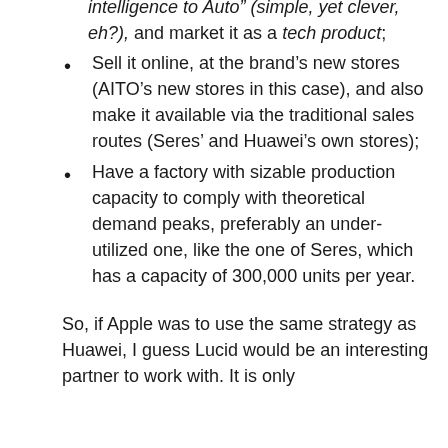intelligence to Auto” (simple, yet clever, eh?), and market it as a tech product;
Sell it online, at the brand’s new stores (AITO’s new stores in this case), and also make it available via the traditional sales routes (Seres’ and Huawei’s own stores);
Have a factory with sizable production capacity to comply with theoretical demand peaks, preferably an under-utilized one, like the one of Seres, which has a capacity of 300,000 units per year.
So, if Apple was to use the same strategy as Huawei, I guess Lucid would be an interesting partner to work with. It is only